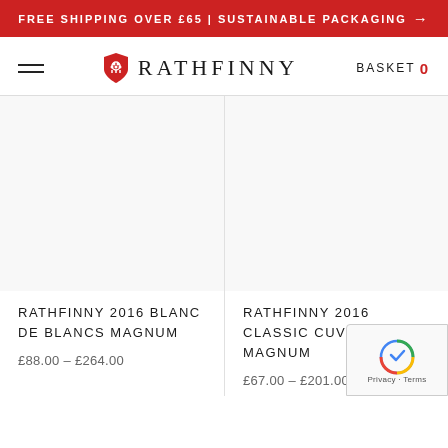FREE SHIPPING OVER £65 | SUSTAINABLE PACKAGING →
[Figure (logo): Rathfinny wine estate logo with shield icon and text RATHFINNY, plus BASKET 0 navigation]
[Figure (photo): Product image area for Rathfinny 2016 Blanc de Blancs Magnum (empty/white)]
RATHFINNY 2016 BLANC DE BLANCS MAGNUM
£88.00 — £264.00
[Figure (photo): Product image area for Rathfinny 2016 Classic Cuvée Magnum (empty/white)]
RATHFINNY 2016 CLASSIC CUVÉE MAGNUM
£67.00 — £201.00